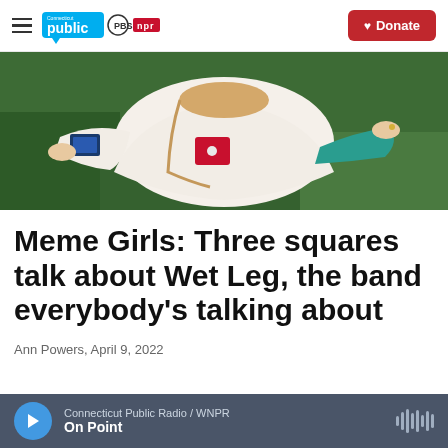Connecticut Public | PBS | NPR | Donate
[Figure (photo): Person lying on grass with arms outstretched, wearing a white jacket with decorative patches and a red pocket]
Meme Girls: Three squares talk about Wet Leg, the band everybody's talking about
Ann Powers, April 9, 2022
Connecticut Public Radio / WNPR — On Point